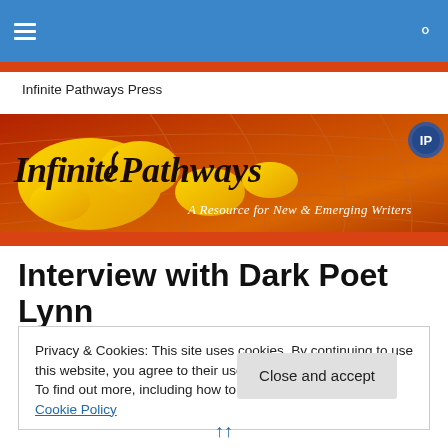Infinite Pathways Press
[Figure (illustration): Infinite Pathways Press banner: dark red/orange background with yellow world map graphic and curved grid lines; italic serif text 'Infinite Pathways' on left, cursive tagline 'A Resource for New & Emerging Writers' on right; small circular logo in top-right corner.]
Interview with Dark Poet Lynn
Privacy & Cookies: This site uses cookies. By continuing to use this website, you agree to their use.
To find out more, including how to control cookies, see here: Cookie Policy
Close and accept